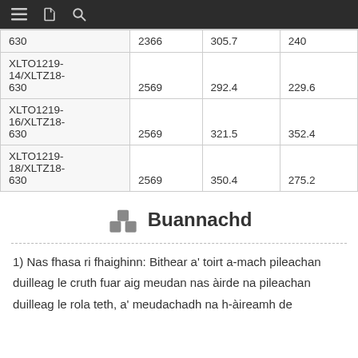| 630 | 2366 | 305.7 | 240 |
| XLTO1219-14/XLTZ18-630 | 2569 | 292.4 | 229.6 |
| XLTO1219-16/XLTZ18-630 | 2569 | 321.5 | 352.4 |
| XLTO1219-18/XLTZ18-630 | 2569 | 350.4 | 275.2 |
Buannachd
1) Nas fhasa ri fhaighinn: Bithear a' toirt a-mach pileachan duilleag le cruth fuar aig meudan nas àirde na pileachan duilleag le rola teth, a' meudachadh na h-àireamh de